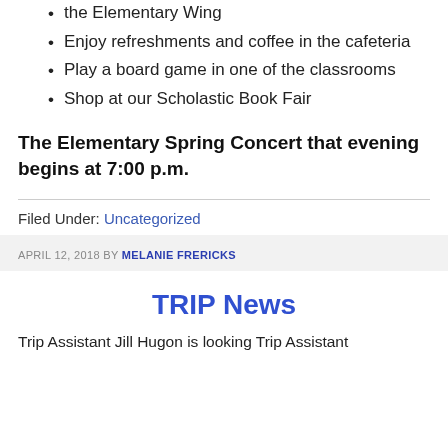the Elementary Wing
Enjoy refreshments and coffee in the cafeteria
Play a board game in one of the classrooms
Shop at our Scholastic Book Fair
The Elementary Spring Concert that evening begins at 7:00 p.m.
Filed Under: Uncategorized
APRIL 12, 2018 BY MELANIE FRERICKS
TRIP News
Trip Assistant Jill Hugon is looking Trip Assistant